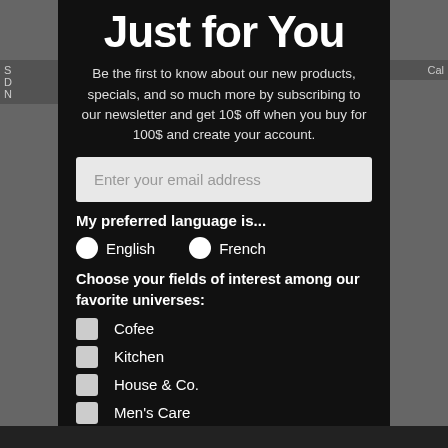Just for You
Be the first to know about our new products, specials, and so much more by subscribing to our newsletter and get 10$ off when you buy for 100$ and create your account.
Enter your email address
My preferred language is...
English   French
Choose your fields of interest among our favorite universes:
Cofee
Kitchen
House & Co.
Men's Care